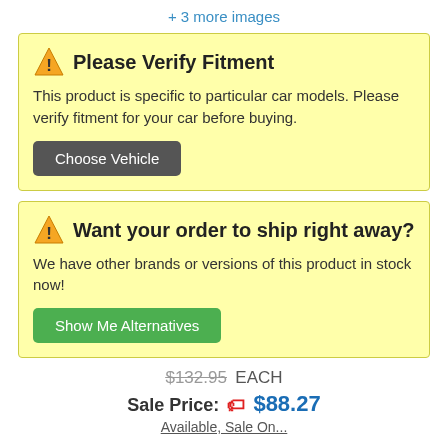+ 3 more images
Please Verify Fitment
This product is specific to particular car models. Please verify fitment for your car before buying.
Choose Vehicle
Want your order to ship right away?
We have other brands or versions of this product in stock now!
Show Me Alternatives
$132.95 EACH
Sale Price: $88.27
Available, Sale On...